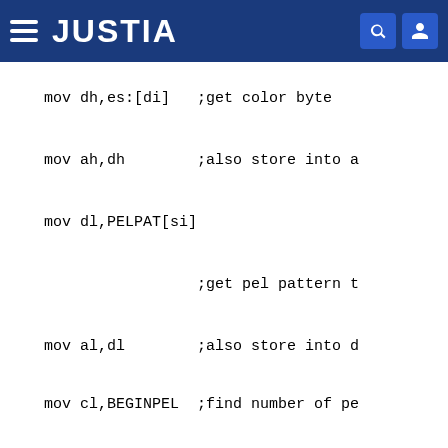JUSTIA
mov dh,es:[di]   ;get color byte

mov ah,dh        ;also store into a

mov dl,PELPAT[si]

                 ;get pel pattern t

mov al,dl        ;also store into d

mov cl,BEGINPEL  ;find number of pe

                 ;beginning pel to

shl cl,1         ;convert to bits (

sbr ch,cl        ;don't care if the